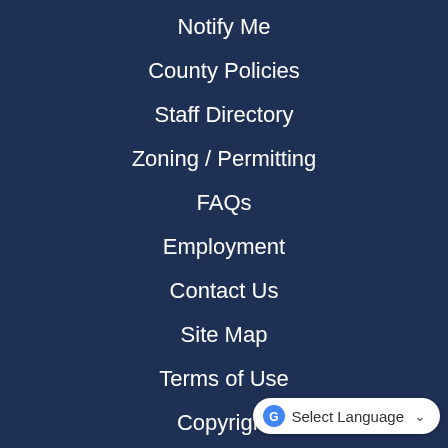Notify Me
County Policies
Staff Directory
Zoning / Permitting
FAQs
Employment
Contact Us
Site Map
Terms of Use
Copyright
Government Websites by CivicPlus®
Select Language